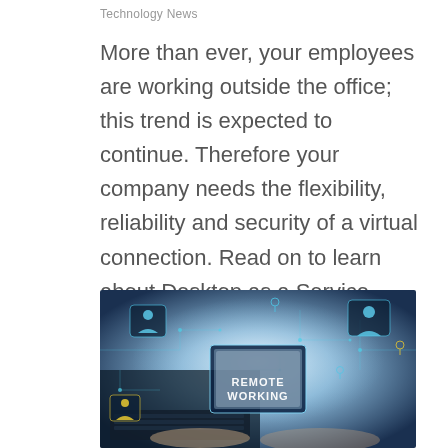Technology News
More than ever, your employees are working outside the office; this trend is expected to continue. Therefore your company needs the flexibility, reliability and security of a virtual connection. Read on to learn about Desktop as a Service (DaaS) and how it can help...
[Figure (photo): A person typing on a laptop keyboard with digital circuit board overlay graphics and floating icons representing remote connectivity. A glowing screen displays the text 'REMOTE WORKING'.]